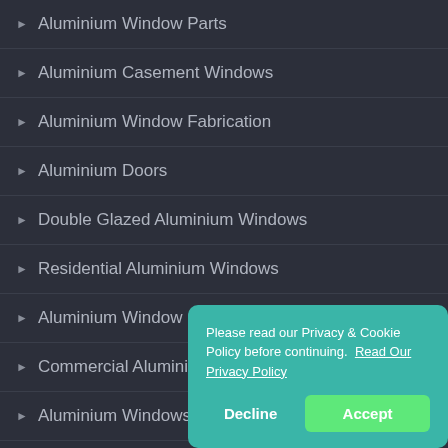Aluminium Window Parts
Aluminium Casement Windows
Aluminium Window Fabrication
Aluminium Doors
Double Glazed Aluminium Windows
Residential Aluminium Windows
Aluminium Window Shutters
Commercial Aluminium Windows
Aluminium Windows Free Quote
Please read our Privacy & Cookie Policy before continuing. Read Our Privacy Policy